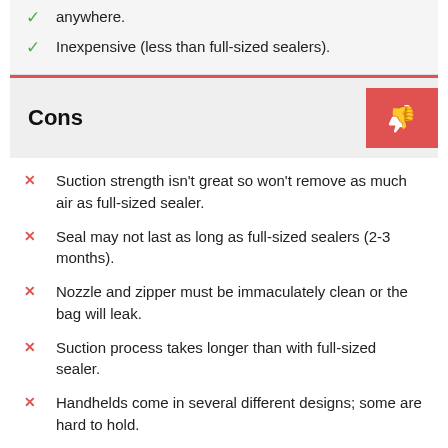anywhere.
Inexpensive (less than full-sized sealers).
Cons
Suction strength isn't great so won't remove as much air as full-sized sealer.
Seal may not last as long as full-sized sealers (2-3 months).
Nozzle and zipper must be immaculately clean or the bag will leak.
Suction process takes longer than with full-sized sealer.
Handhelds come in several different designs; some are hard to hold.